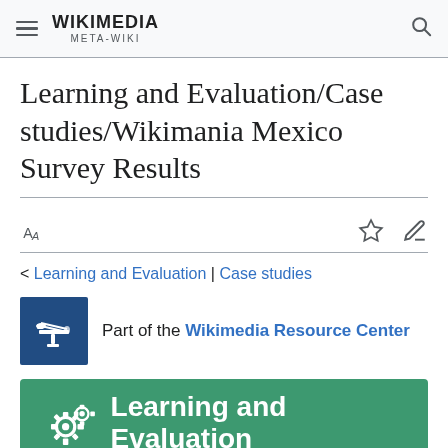WIKIMEDIA META-WIKI
Learning and Evaluation/Case studies/Wikimania Mexico Survey Results
< Learning and Evaluation | Case studies
Part of the Wikimedia Resource Center
Learning and Evaluation
Start | Plan | Report